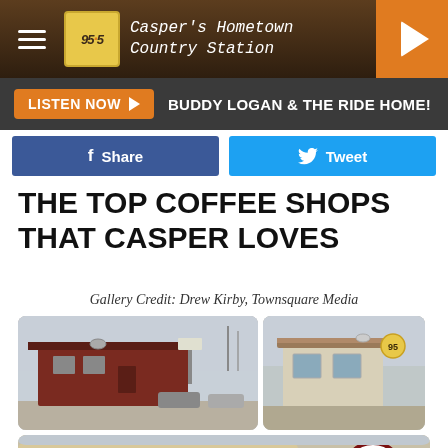95.5 — Casper's Hometown Country Station
LISTEN NOW ▶ BUDDY LOGAN & THE RIDE HOME!
Share | Tweet
THE TOP COFFEE SHOPS THAT CASPER LOVES
Gallery Credit: Drew Kirby, Townsquare Media
[Figure (photo): Three photos of Casper coffee shops, including exterior shots of storefronts and a sign reading Buchin Brew]